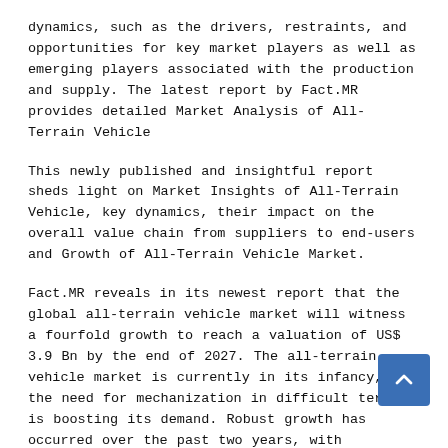dynamics, such as the drivers, restraints, and opportunities for key market players as well as emerging players associated with the production and supply. The latest report by Fact.MR provides detailed Market Analysis of All-Terrain Vehicle
This newly published and insightful report sheds light on Market Insights of All-Terrain Vehicle, key dynamics, their impact on the overall value chain from suppliers to end-users and Growth of All-Terrain Vehicle Market.
Fact.MR reveals in its newest report that the global all-terrain vehicle market will witness a fourfold growth to reach a valuation of US$ 3.9 Bn by the end of 2027. The all-terrain vehicle market is currently in its infancy, but the need for mechanization in difficult terrain is boosting its demand. Robust growth has occurred over the past two years, with consistent demand from individuals, hospitality sector, adventure parks, and off-road enthusiasts. Efforts to improve the technology used in all-terrain vehicles such as power steering, electronic fuel injection and four-wheel independent suspension are expected to fuel the demand for all-terrain vehicles during the forecast period.
[Figure (other): A blue scroll-to-top button with an upward-pointing chevron arrow icon, positioned at the bottom right of the page.]